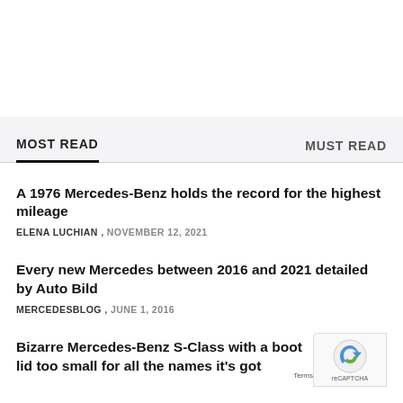MOST READ
MUST READ
A 1976 Mercedes-Benz holds the record for the highest mileage
ELENA LUCHIAN , NOVEMBER 12, 2021
Every new Mercedes between 2016 and 2021 detailed by Auto Bild
MERCEDESBLOG , JUNE 1, 2016
Bizarre Mercedes-Benz S-Class with a boot lid too small for all the names it's got